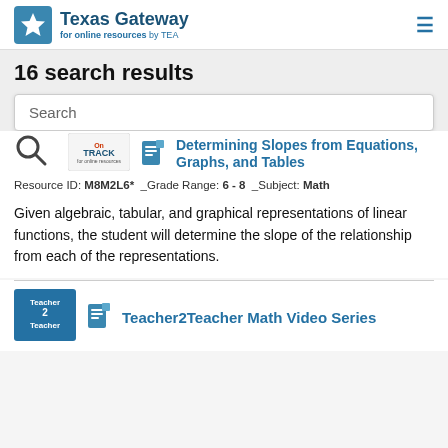Texas Gateway for online resources by TEA
16 search results
Search
[Figure (logo): OnTRACK logo badge]
Determining Slopes from Equations, Graphs, and Tables
Resource ID: M8M2L6*  _Grade Range: 6 - 8  _Subject: Math
Given algebraic, tabular, and graphical representations of linear functions, the student will determine the slope of the relationship from each of the representations.
[Figure (logo): Teacher 2 Teacher badge]
Teacher2Teacher Math Video Series